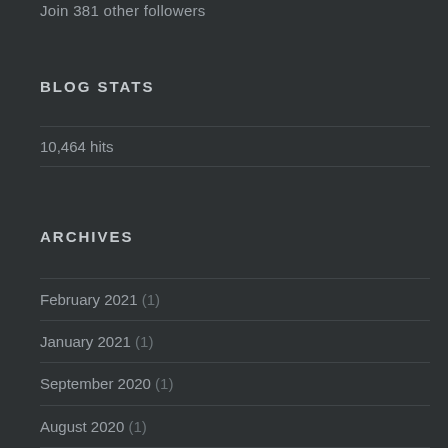Join 381 other followers
BLOG STATS
10,464 hits
ARCHIVES
February 2021 (1)
January 2021 (1)
September 2020 (1)
August 2020 (1)